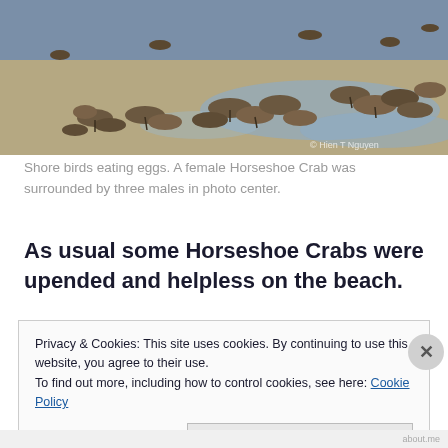[Figure (photo): Shorebirds feeding on a sandy/muddy beach with shallow water. Many small brown birds (sandpipers/shorebirds) foraging. Watermark reads '© Hien T Nguyen' in lower right.]
Shore birds eating eggs. A female Horseshoe Crab was surrounded by three males in photo center.
As usual some Horseshoe Crabs were upended and helpless on the beach.
Privacy & Cookies: This site uses cookies. By continuing to use this website, you agree to their use.
To find out more, including how to control cookies, see here: Cookie Policy
Close and accept